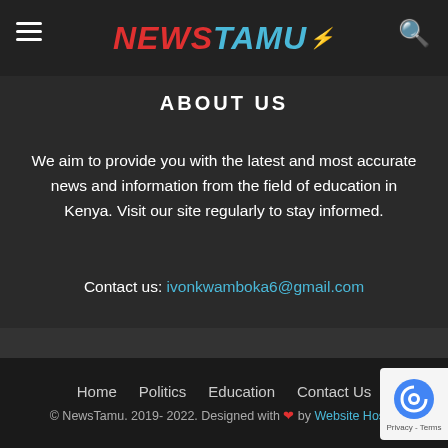NEWSTAMU
ABOUT US
We aim to provide you with the latest and most accurate news and information from the field of education in Kenya. Visit our site regularly to stay informed.
Contact us: ivonkwamboka6@gmail.com
FOLLOW US
Home  Politics  Education  Contact Us
© NewsTamu. 2019- 2022. Designed with ❤ by Website Hosting